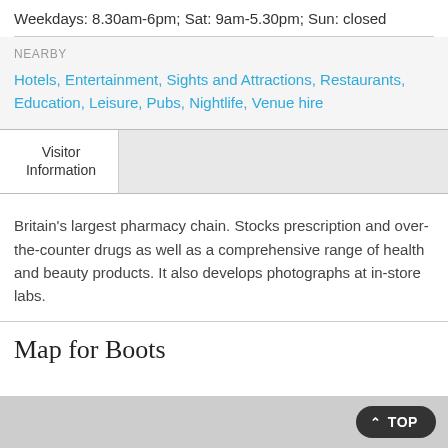Weekdays: 8.30am-6pm; Sat: 9am-5.30pm; Sun: closed
NEARBY
Hotels, Entertainment, Sights and Attractions, Restaurants, Education, Leisure, Pubs, Nightlife, Venue hire
Visitor Information
Britain's largest pharmacy chain. Stocks prescription and over-the-counter drugs as well as a comprehensive range of health and beauty products. It also develops photographs at in-store labs.
Map for Boots
TOP